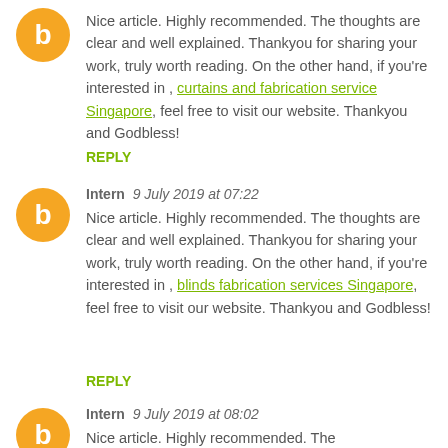Nice article. Highly recommended. The thoughts are clear and well explained. Thankyou for sharing your work, truly worth reading. On the other hand, if you're interested in , curtains and fabrication service Singapore, feel free to visit our website. Thankyou and Godbless!
REPLY
Intern  9 July 2019 at 07:22
Nice article. Highly recommended. The thoughts are clear and well explained. Thankyou for sharing your work, truly worth reading. On the other hand, if you're interested in , blinds fabrication services Singapore, feel free to visit our website. Thankyou and Godbless!
REPLY
Intern  9 July 2019 at 08:02
Nice article. Highly recommended. The